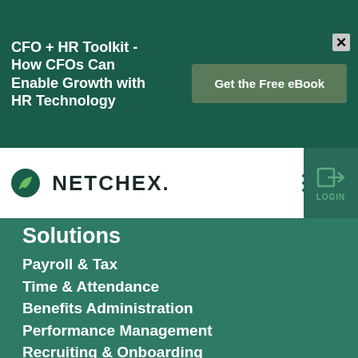CFO + HR Toolkit - How CFOs Can Enable Growth with HR Technology
Get the Free eBook
[Figure (logo): Netchex logo with green leaf mark and NETCHEX. wordmark]
[Figure (infographic): Hamburger menu icon (three horizontal lines)]
[Figure (infographic): Login arrow icon with LOGIN label]
Solutions
Payroll & Tax
Time & Attendance
Benefits Administration
Performance Management
Recruiting & Onboarding
Human Resources
Learning Management
Reporting & Analytics